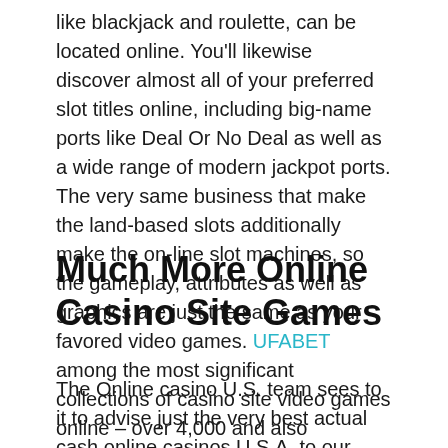like blackjack and roulette, can be located online. You'll likewise discover almost all of your preferred slot titles online, including big-name ports like Deal Or No Deal as well as a wide range of modern jackpot ports. The very same business that make the land-based slots additionally make the on-line slot machines, so the gameplay, attributes as well as graphics are just the same as your favored video games. UFABET among the most significant collections of casino site video games online – over 4,000 and also counting.
Much More Online Casino Site Games
The Online casino U.S. team sees to it to advise just the very best actual cash online casinos U.S.A. to our readers. Not only will these be risk-free as well as